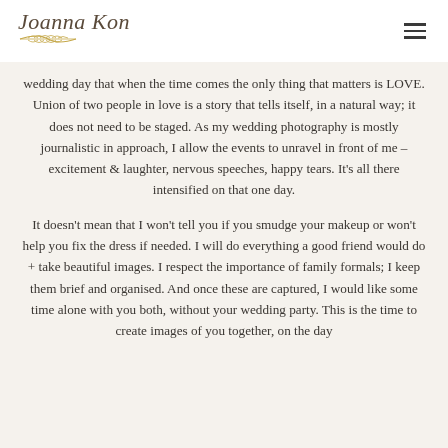Joanna Kon [logo with leaf illustration]
wedding day that when the time comes the only thing that matters is LOVE. Union of two people in love is a story that tells itself, in a natural way; it does not need to be staged. As my wedding photography is mostly journalistic in approach, I allow the events to unravel in front of me – excitement & laughter, nervous speeches, happy tears. It's all there intensified on that one day.

It doesn't mean that I won't tell you if you smudge your makeup or won't help you fix the dress if needed. I will do everything a good friend would do + take beautiful images. I respect the importance of family formals; I keep them brief and organised. And once these are captured, I would like some time alone with you both, without your wedding party. This is the time to create images of you together, on the day